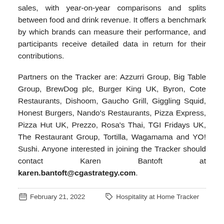sales, with year-on-year comparisons and splits between food and drink revenue. It offers a benchmark by which brands can measure their performance, and participants receive detailed data in return for their contributions.
Partners on the Tracker are: Azzurri Group, Big Table Group, BrewDog plc, Burger King UK, Byron, Cote Restaurants, Dishoom, Gaucho Grill, Giggling Squid, Honest Burgers, Nando's Restaurants, Pizza Express, Pizza Hut UK, Prezzo, Rosa's Thai, TGI Fridays UK, The Restaurant Group, Tortilla, Wagamama and YO! Sushi. Anyone interested in joining the Tracker should contact Karen Bantoft at karen.bantoft@cgastrategy.com.
February 21, 2022   Hospitality at Home Tracker